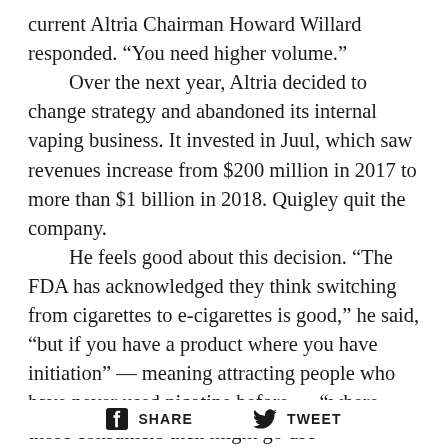current Altria Chairman Howard Willard responded. “You need higher volume.” Over the next year, Altria decided to change strategy and abandoned its internal vaping business. It invested in Juul, which saw revenues increase from $200 million in 2017 to more than $1 billion in 2018. Quigley quit the company. He feels good about this decision. “The FDA has acknowledged they think switching from cigarettes to e-cigarettes is good,” he said, “but if you have a product where you have initiation” — meaning attracting people who have never used nicotine before — “where those consumers then might go use
SHARE   TWEET